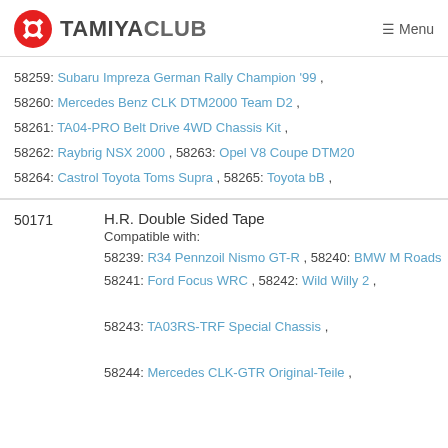TAMIYACLUB  Menu
58259: Subaru Impreza German Rally Champion '99 ,
58260: Mercedes Benz CLK DTM2000 Team D2 ,
58261: TA04-PRO Belt Drive 4WD Chassis Kit ,
58262: Raybrig NSX 2000 , 58263: Opel V8 Coupe DTM2000 ,
58264: Castrol Toyota Toms Supra , 58265: Toyota bB ,
50171
H.R. Double Sided Tape
Compatible with:
58239: R34 Pennzoil Nismo GT-R , 58240: BMW M Roads...
58241: Ford Focus WRC , 58242: Wild Willy 2 ,
58243: TA03RS-TRF Special Chassis ,
58244: Mercedes CLK-GTR Original-Teile ,